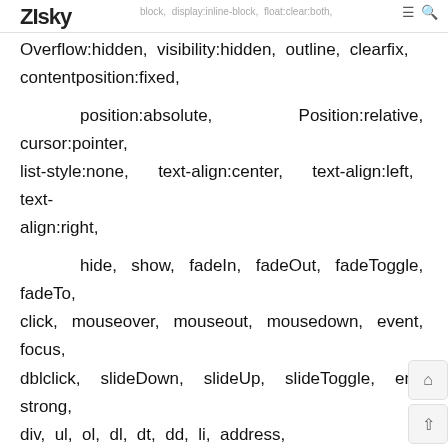ZISky block, display:inline-block, float:clear:both,
Overflow:hidden, visibility:hidden, outline, clearfix, contentposition:fixed,
position:absolute, Position:relative, cursor:pointer, list-style:none, text-align:center, text-align:left, text-align:right,
hide, show, fadeIn, fadeOut, fadeToggle, fadeTo, click, mouseover, mouseout, mousedown, event, focus, dblclick, slideDown, slideUp, slideToggle, em, strong, div, ul, ol, dl, dt, dd, li, address,
animation, opacity, z-index, background-color, background-image, background-position, background-repeat, repeat-x, repeat-y, javascript, document, write, script, clone, append, prepend, addClass,